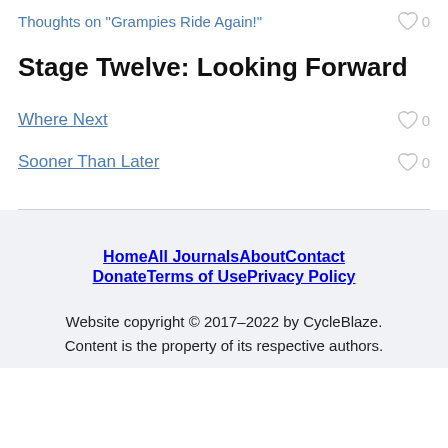Thoughts on "Grampies Ride Again!" 0
Stage Twelve: Looking Forward
Where Next 0
Sooner Than Later 0
Home  All Journals  About  Contact  Donate  Terms of Use  Privacy Policy
Website copyright © 2017–2022 by CycleBlaze. Content is the property of its respective authors.